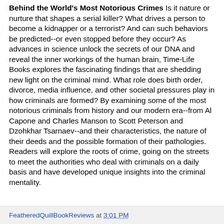Behind the World's Most Notorious Crimes Is it nature or nurture that shapes a serial killer? What drives a person to become a kidnapper or a terrorist? And can such behaviors be predicted--or even stopped before they occur? As advances in science unlock the secrets of our DNA and reveal the inner workings of the human brain, Time-Life Books explores the fascinating findings that are shedding new light on the criminal mind. What role does birth order, divorce, media influence, and other societal pressures play in how criminals are formed? By examining some of the most notorious criminals from history and our modern era--from Al Capone and Charles Manson to Scott Peterson and Dzohkhar Tsarnaev--and their characteristics, the nature of their deeds and the possible formation of their pathologies. Readers will explore the roots of crime, going on the streets to meet the authorities who deal with criminals on a daily basis and have developed unique insights into the criminal mentality.
FeatheredQuillBookReviews at 3:01 PM